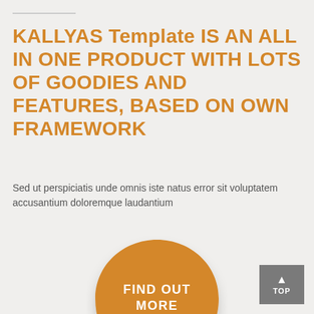KALLYAS Template IS AN ALL IN ONE PRODUCT WITH LOTS OF GOODIES AND FEATURES, BASED ON OWN FRAMEWORK
Sed ut perspiciatis unde omnis iste natus error sit voluptatem accusantium doloremque laudantium
[Figure (illustration): An orange blob/circle shape with text 'FIND OUT MORE' in white, centered, with a subtle shadow below.]
TOP